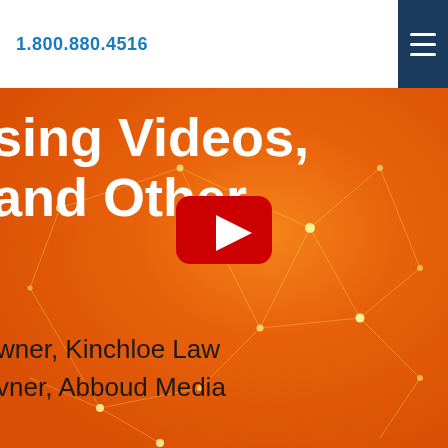1.800.880.4516
[Figure (screenshot): Orange background with network/connected dots graphic overlay. Partially visible title text reads 'sing Videos, and Other'. A YouTube play button icon is centered in the upper portion. Bottom text shows author affiliations: 'wner, Kinchloe Law' and 'vner, Abboud Media'.]